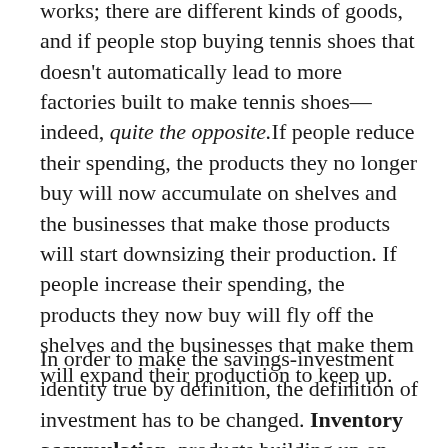works; there are different kinds of goods, and if people stop buying tennis shoes that doesn't automatically lead to more factories built to make tennis shoes—indeed, quite the opposite.If people reduce their spending, the products they no longer buy will now accumulate on shelves and the businesses that make those products will start downsizing their production. If people increase their spending, the products they now buy will fly off the shelves and the businesses that make them will expand their production to keep up.
In order to make the savings-investment identity true by definition, the definition of investment has to be changed. Inventory accumulation, products building up on